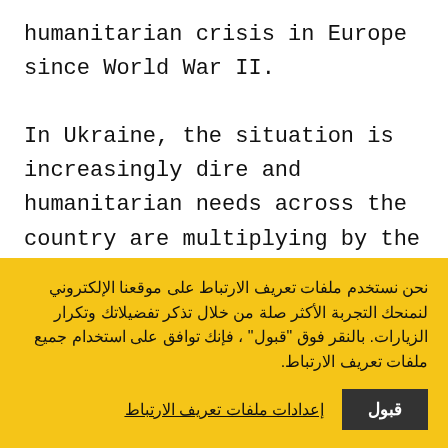humanitarian crisis in Europe since World War II.

In Ukraine, the situation is increasingly dire and humanitarian needs across the country are multiplying by the hour. UNICEF reports that hundreds of thousands of people are without safe drinking water and many have been cut off from access to other essential services like healthcare and medical
نحن نستخدم ملفات تعريف الارتباط على موقعنا الإلكتروني لنمنحك التجربة الأكثر صلة من خلال تذكر تفضيلاتك وتكرار الزيارات. بالنقر فوق "قبول" ، فإنك توافق على استخدام جميع ملفات تعريف الارتباط.
قبول
إعدادات ملفات تعريف الارتباط